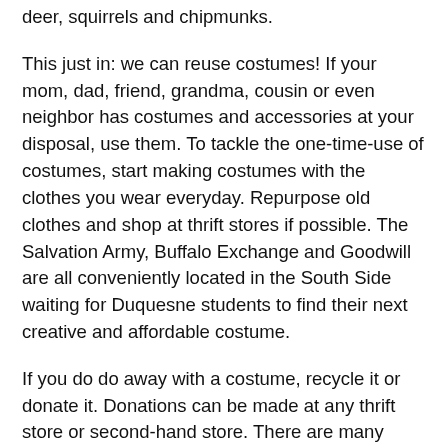try composting or even leaving them in the wilderness for deer, squirrels and chipmunks.
This just in: we can reuse costumes! If your mom, dad, friend, grandma, cousin or even neighbor has costumes and accessories at your disposal, use them. To tackle the one-time-use of costumes, start making costumes with the clothes you wear everyday. Repurpose old clothes and shop at thrift stores if possible. The Salvation Army, Buffalo Exchange and Goodwill are all conveniently located in the South Side waiting for Duquesne students to find their next creative and affordable costume.
If you do do away with a costume, recycle it or donate it. Donations can be made at any thrift store or second-hand store. There are many groups that accept costumes: WEEN DREAM, The Halloween Helpers, Theatre Development Fund and American Textile Recycling Service. Most of these services are mail-in or you can contact each non-profit individually through their websites.